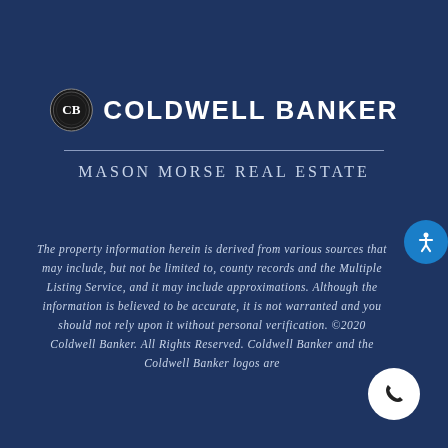[Figure (logo): Coldwell Banker circular seal logo with 'CB' monogram in black and white circle, followed by 'COLDWELL BANKER' text in white bold uppercase]
MASON MORSE REAL ESTATE
The property information herein is derived from various sources that may include, but not be limited to, county records and the Multiple Listing Service, and it may include approximations. Although the information is believed to be accurate, it is not warranted and you should not rely upon it without personal verification. ©2020 Coldwell Banker. All Rights Reserved. Coldwell Banker and the Coldwell Banker logos are